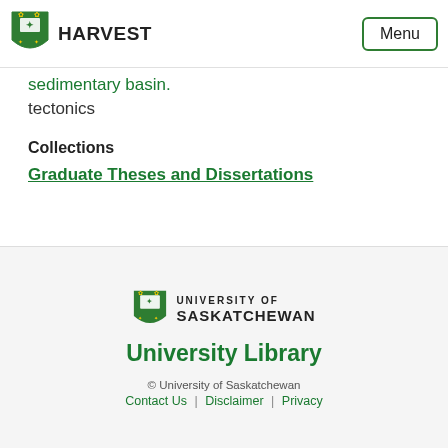HARVEST
sedimentary basin.
tectonics
Collections
Graduate Theses and Dissertations
University Library
© University of Saskatchewan
Contact Us | Disclaimer | Privacy